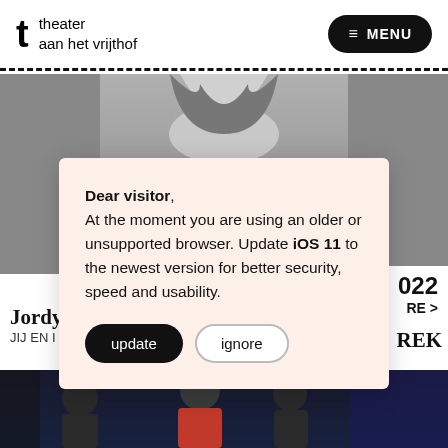theater aan het vrijthof | MENU
[Figure (screenshot): Black and white photo of a woman, cropped from the chin up, with hair visible]
Dear visitor, At the moment you are using an older or unsupported browser. Update iOS 11 to the newest version for better security, speed and usability.
update | ignore
Jordy D...  JIJ EN ...  ...022  RE >  ...REK
[Figure (photo): Color photo of performers on stage, including a person in a red shirt]